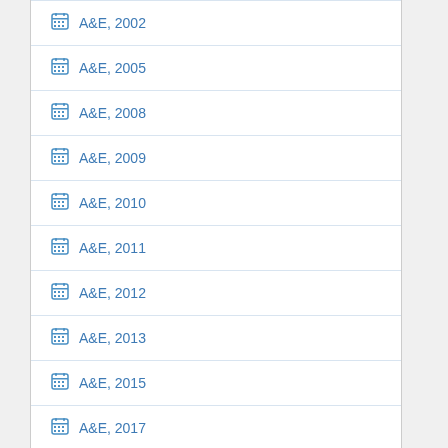A&E, 2002
A&E, 2005
A&E, 2008
A&E, 2009
A&E, 2010
A&E, 2011
A&E, 2012
A&E, 2013
A&E, 2015
A&E, 2017
A&E, 2018